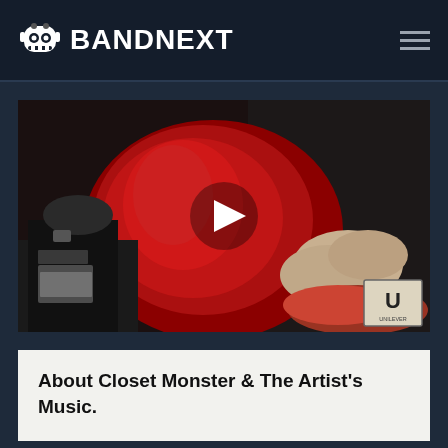BANDNEXT
[Figure (screenshot): Video thumbnail showing band members, one wearing red, with a white play button triangle overlay in the center. A Unilever logo badge appears in the bottom-right corner.]
About Closet Monster & The Artist's Music.